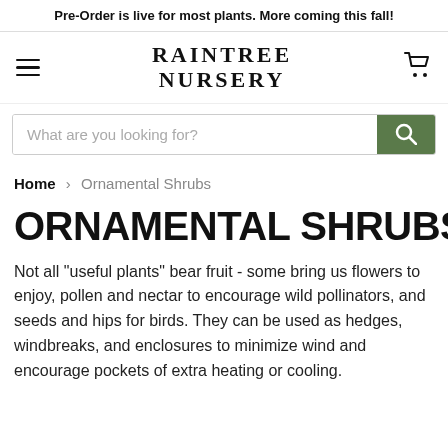Pre-Order is live for most plants. More coming this fall!
[Figure (logo): Raintree Nursery logo with hamburger menu icon and cart icon]
[Figure (screenshot): Search bar with placeholder text 'What are you looking for?' and green search button]
Home > Ornamental Shrubs
ORNAMENTAL SHRUBS
Not all "useful plants" bear fruit - some bring us flowers to enjoy, pollen and nectar to encourage wild pollinators, and seeds and hips for birds. They can be used as hedges, windbreaks, and enclosures to minimize wind and encourage pockets of extra heating or cooling.